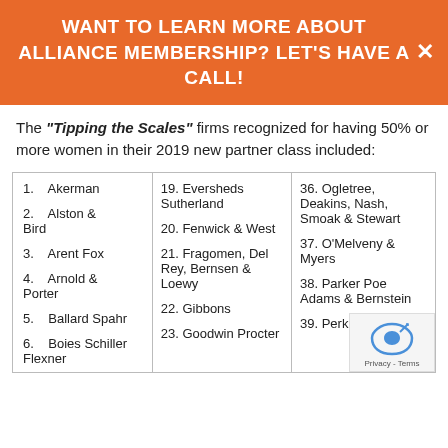WANT TO LEARN MORE ABOUT ALLIANCE MEMBERSHIP? LET'S HAVE A CALL!
The "Tipping the Scales" firms recognized for having 50% or more women in their 2019 new partner class included:
| Column 1 | Column 2 | Column 3 |
| --- | --- | --- |
| 1.    Akerman | 19. Eversheds Sutherland | 36. Ogletree, Deakins, Nash, Smoak & Stewart |
| 2.    Alston & Bird | 20. Fenwick & West | 37. O'Melveny & Myers |
| 3.    Arent Fox | 21. Fragomen, Del Rey, Bernsen & Loewy | 38. Parker Poe Adams & Bernstein |
| 4.    Arnold & Porter | 22. Gibbons | 39. Perkins C... |
| 5.    Ballard Spahr | 23. Goodwin Procter |  |
| 6.    Boies Schiller Flexner |  |  |